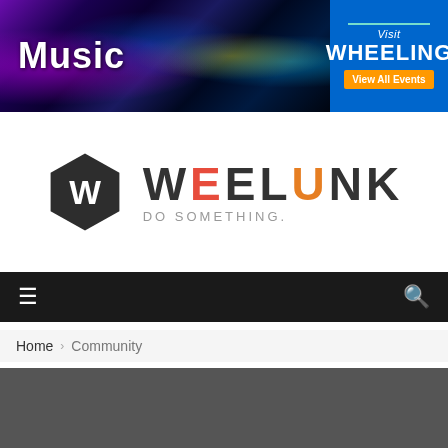[Figure (photo): Music banner with concert photo showing performers on stage with purple and blue stage lighting, and a Visit Wheeling advertisement on the right side]
[Figure (logo): Weelunk logo with hexagon W icon and text WEELUNK with tagline DO SOMETHING.]
≡  🔍
Home › Community
[Figure (photo): Dark gray content area below breadcrumb navigation]